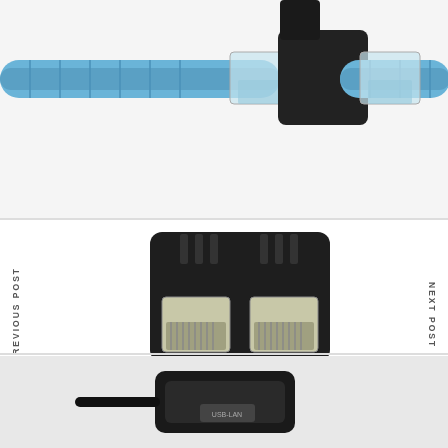[Figure (photo): Close-up photo of a black RJ45 Ethernet splitter adapter connected to a blue Ethernet cable against a white background.]
PREVIOUS POST
NEXT POST
[Figure (photo): Black RJ45 1 to 2 way Ethernet splitter connector showing two female ports from the front, isolated product shot.]
Splitter Connector 1 To 2 Ways Rj 45 Interface Splitter Ethernet Cable Socket Adapter 8p8c Hub Network Lan Internet Modular Plug Ethernet Cable Pc Laptop
[Figure (photo): Close-up of a black USB to Ethernet adapter/hub device against a white/grey background.]